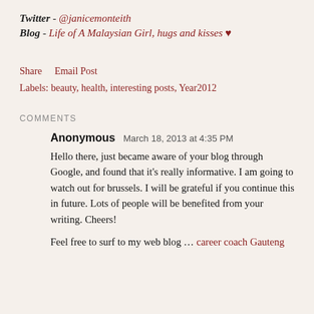Twitter - @janicemonteith
Blog - Life of A Malaysian Girl, hugs and kisses ♥
Share   Email Post
Labels: beauty, health, interesting posts, Year2012
COMMENTS
Anonymous  March 18, 2013 at 4:35 PM
Hello there, just became aware of your blog through Google, and found that it's really informative. I am going to watch out for brussels. I will be grateful if you continue this in future. Lots of people will be benefited from your writing. Cheers!
Feel free to surf to my web blog ... career coach Gauteng